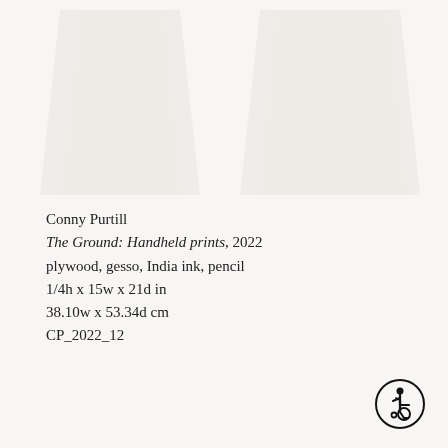[Figure (photo): Faint large-scale artwork impression visible as a watermark-like image in the upper portion of the page — appears to show abstract printed shapes in very light gray tones.]
Conny Purtill
The Ground: Handheld prints, 2022
plywood, gesso, India ink, pencil
1/4h x 15w x 21d in
38.10w x 53.34d cm
CP_2022_12
[Figure (illustration): Accessibility icon (wheelchair user symbol) in a circle, bottom right corner.]